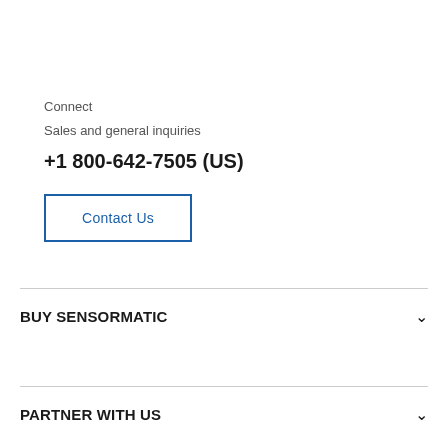Connect
Sales and general inquiries
+1 800-642-7505 (US)
Contact Us
BUY SENSORMATIC
PARTNER WITH US